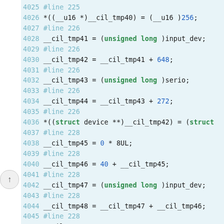[Figure (screenshot): Source code viewer showing C code lines 4025-4054 with syntax highlighting. Line numbers in light blue, #line directives in light blue, keywords like 'unsigned long' and 'struct' in bold green, numeric literals in blue, and other code in dark/black text. Background is light blue-gray.]